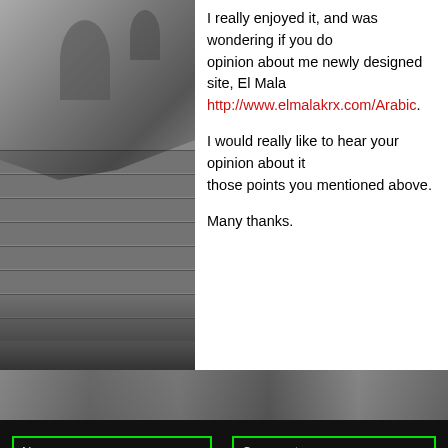[Figure (photo): Black and white photograph of people on stone steps near an ornate building, possibly a mosque or historical monument in South Asia. People are sitting and walking on wide stone steps.]
I really enjoyed it, and was wondering if you could give me your opinion about me newly designed site, El Mala... http://www.elmalakrx.com/Arabic.

I would really like to hear your opinion about it... those points you mentioned above.

Many thanks.
[Figure (photo): Black and white panoramic photograph showing people gathered on stone steps, sitting in groups.]
Name
Email
Website (optional)
Comment